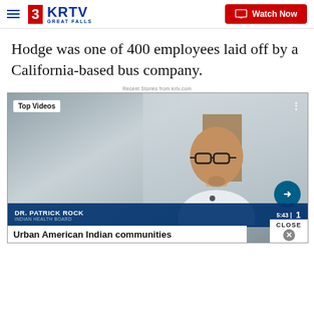3KRTV GREAT FALLS — Watch Now
Hodge was one of 400 employees laid off by a California-based bus company.
Recent Stories from krtv.com
[Figure (screenshot): Video player showing a man being interviewed, with 'Top Videos' badge, lower third: 'DR. PATRICK ROCK, INDIAN HEALTH BOARD', timestamp 5:43, and headline 'Urban American Indian communities' partially visible. A 'CLOSE' button appears at bottom right.]